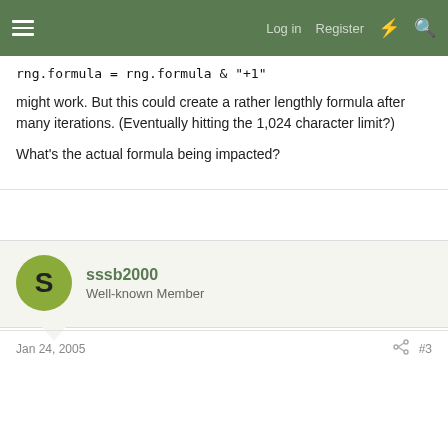Log in  Register
rng.formula = rng.formula & "+1"
might work. But this could create a rather lengthly formula after many iterations. (Eventually hitting the 1,024 character limit?)
What's the actual formula being impacted?
sssb2000
Well-known Member
Jan 24, 2005  #3